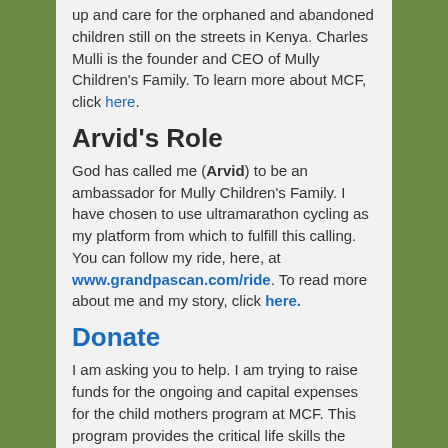up and care for the orphaned and abandoned children still on the streets in Kenya. Charles Mulli is the founder and CEO of Mully Children's Family. To learn more about MCF, click here.
Arvid's Role
God has called me (Arvid) to be an ambassador for Mully Children's Family. I have chosen to use ultramarathon cycling as my platform from which to fulfill this calling. You can follow my ride, here, at www.grandpascan.com/ride. To read more about me and my story, click here.
Donate
I am asking you to help. I am trying to raise funds for the ongoing and capital expenses for the child mothers program at MCF. This program provides the critical life skills the young mothers need. To learn more about donating, click here.